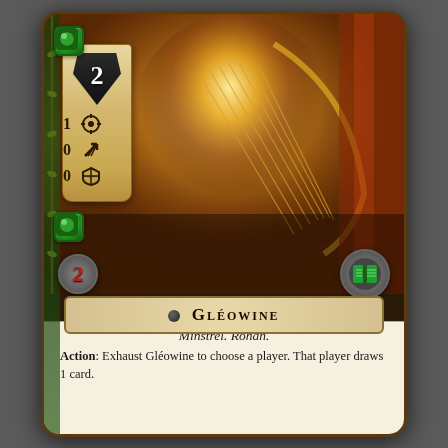[Figure (illustration): Lord of the Rings LCG card - Gleowine. Shows a golden-lit minstrel playing a harp. Card has stats: cost 2 (shield), willpower 1, attack 0, defense 0. Threat cost 2 (red). Lore sphere (green book icon). Left side has green resource gems and a parchment scroll with stats.]
Minstrel. Rohan.
Action: Exhaust Gléowine to choose a player. That player draws 1 card.